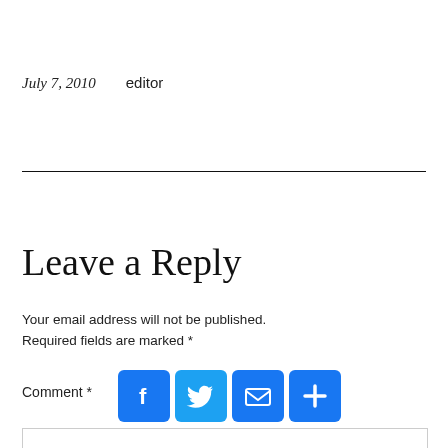July 7, 2010    editor
Leave a Reply
Your email address will not be published. Required fields are marked *
Comment *
[Figure (infographic): Social sharing icons: Facebook (blue f), Twitter (blue bird), Email (blue envelope), More/Plus (blue plus sign)]